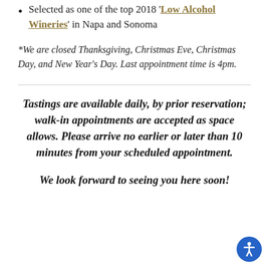Selected as one of the top 2018 'Low Alcohol Wineries' in Napa and Sonoma
*We are closed Thanksgiving, Christmas Eve, Christmas Day, and New Year's Day. Last appointment time is 4pm.
Tastings are available daily, by prior reservation; walk-in appointments are accepted as space allows. Please arrive no earlier or later than 10 minutes from your scheduled appointment.
We look forward to seeing you here soon!